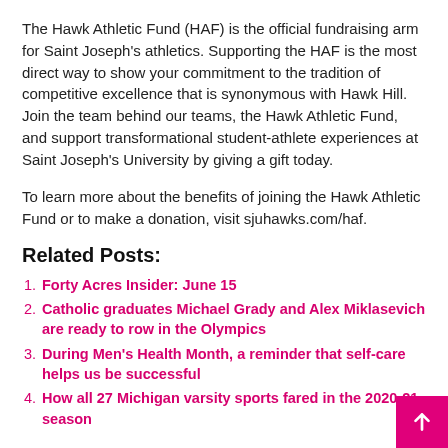The Hawk Athletic Fund (HAF) is the official fundraising arm for Saint Joseph's athletics. Supporting the HAF is the most direct way to show your commitment to the tradition of competitive excellence that is synonymous with Hawk Hill. Join the team behind our teams, the Hawk Athletic Fund, and support transformational student-athlete experiences at Saint Joseph's University by giving a gift today.
To learn more about the benefits of joining the Hawk Athletic Fund or to make a donation, visit sjuhawks.com/haf.
Related Posts:
Forty Acres Insider: June 15
Catholic graduates Michael Grady and Alex Miklasevich are ready to row in the Olympics
During Men's Health Month, a reminder that self-care helps us be successful
How all 27 Michigan varsity sports fared in the 2020-21 season